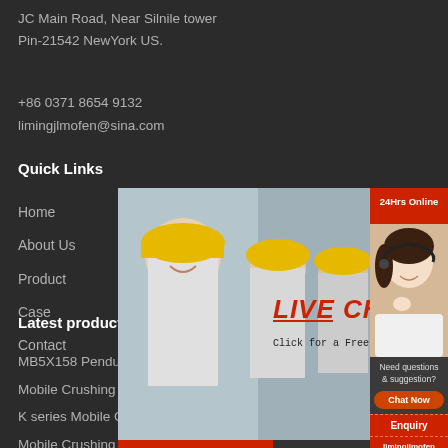JC Main Road, Near Silnile tower
Pin-21542 NewYork US.
+86 0371 8654 9132
limingjlmofen@sina.com
Quick Links
Home
About Us
Product
Case
Contact
Latest product
MB5X158 Pendulous Suspension
Mobile Crushing Screening Plant
K series Mobile Cone Crusher
Mobile Crushing and Washing Pla
MW Series Micro Powder Mill
[Figure (screenshot): Live Chat popup overlay showing workers in yellow hard hats with LIVE CHAT text and 'Click for a Free Consultation', with Chat now and Chat later buttons. Right side shows a female agent with headset and panels for '24Hrs Online', 'Need questions & suggestion?', 'Chat Now', 'Enquiry', and 'limingjlmofen'.]